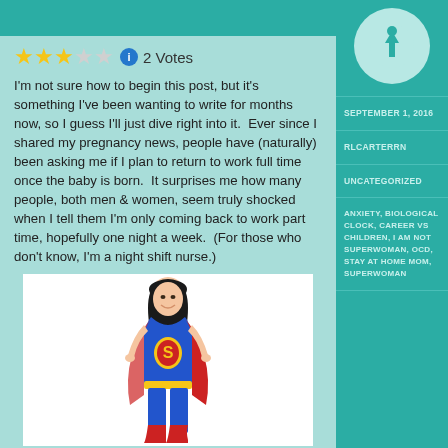[Figure (illustration): Teal header bar with pin/bookmark icon circle in right sidebar]
★★★☆☆ ℹ 2 Votes
I'm not sure how to begin this post, but it's something I've been wanting to write for months now, so I guess I'll just dive right into it.  Ever since I shared my pregnancy news, people have (naturally) been asking me if I plan to return to work full time once the baby is born.  It surprises me how many people, both men & women, seem truly shocked when I tell them I'm only coming back to work part time, hopefully one night a week.  (For those who don't know, I'm a night shift nurse.)
[Figure (illustration): Cartoon illustration of a Superwoman character in blue and red costume with cape, dark hair, smiling]
SEPTEMBER 1, 2016
RLCARTERRN
UNCATEGORIZED
ANXIETY, BIOLOGICAL CLOCK, CAREER VS CHILDREN, I AM NOT SUPERWOMAN, OCD, STAY AT HOME MOM, SUPERWOMAN